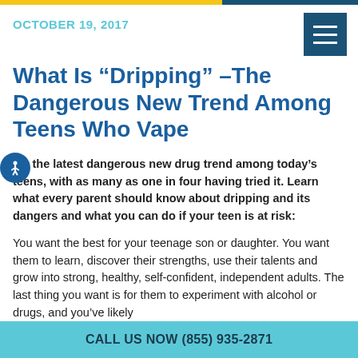OCTOBER 19, 2017
What Is “Dripping” –The Dangerous New Trend Among Teens Who Vape
It’s the latest dangerous new drug trend among today’s teens, with as many as one in four having tried it. Learn what every parent should know about dripping and its dangers and what you can do if your teen is at risk:
You want the best for your teenage son or daughter. You want them to learn, discover their strengths, use their talents and grow into strong, healthy, self-confident, independent adults. The last thing you want is for them to experiment with alcohol or drugs, and you’ve likely
CALL US NOW (855) 935-2871